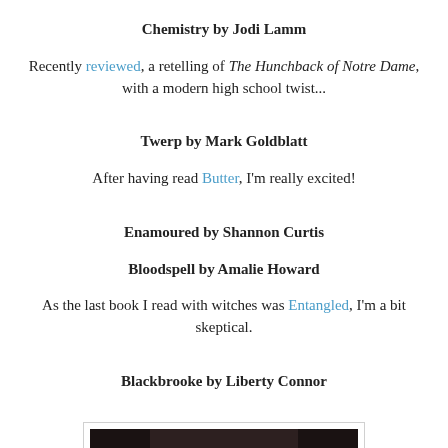Chemistry by Jodi Lamm
Recently reviewed, a retelling of The Hunchback of Notre Dame, with a modern high school twist...
Twerp by Mark Goldblatt
After having read Butter, I'm really excited!
Enamoured by Shannon Curtis
Bloodspell by Amalie Howard
As the last book I read with witches was Entangled, I'm a bit skeptical.
Blackbrooke by Liberty Connor
[Figure (photo): A book shelf with a copy of Doctor Zhivago by Boris Pasternak standing upright on a dark wooden shelf, surrounded by dark panels on left and right.]